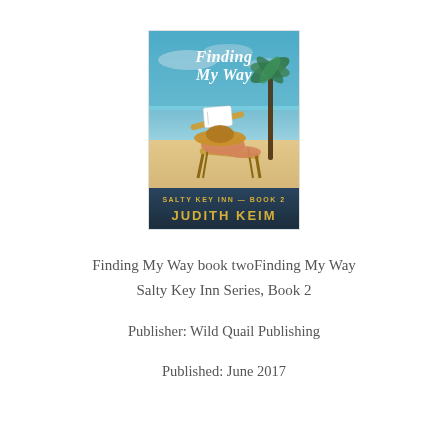[Figure (illustration): Book cover for 'Finding My Way' by Judith Keim, Salty Key Inn Book 2. Shows a woman in a wide-brim hat reclining on a beach chair reading a book, with a tropical beach, palm trees, and blue sky background. The title is in white script at the top and the author name is in bold gold letters at the bottom.]
Finding My Way book twoFinding My Way
Salty Key Inn Series, Book 2
Publisher: Wild Quail Publishing
Published: June 2017